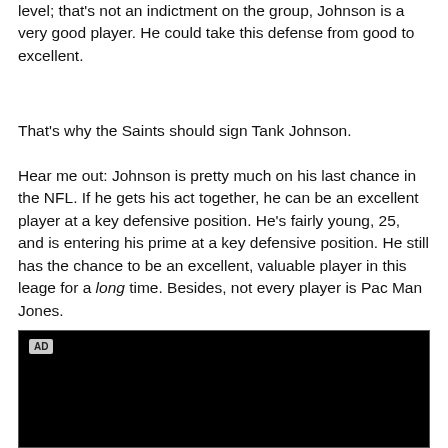level; that's not an indictment on the group, Johnson is a very good player. He could take this defense from good to excellent.
That's why the Saints should sign Tank Johnson.
Hear me out: Johnson is pretty much on his last chance in the NFL. If he gets his act together, he can be an excellent player at a key defensive position. He's fairly young, 25, and is entering his prime at a key defensive position. He still has the chance to be an excellent, valuable player in this leage for a long time. Besides, not every player is Pac Man Jones.
[Figure (other): Black advertisement box with 'AD' label in upper left corner]